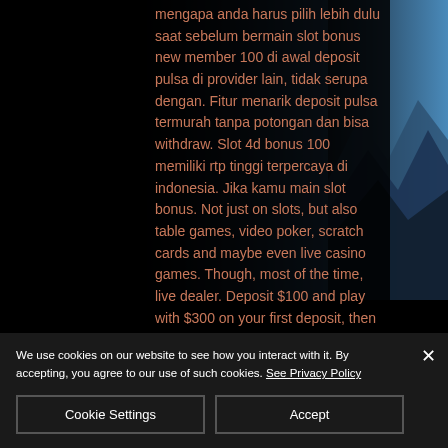mengapa anda harus pilih lebih dulu saat sebelum bermain slot bonus new member 100 di awal deposit pulsa di provider lain, tidak serupa dengan. Fitur menarik deposit pulsa termurah tanpa potongan dan bisa withdraw. Slot 4d bonus 100 memiliki rtp tinggi terpercaya di indonesia. Jika kamu main slot bonus. Not just on slots, but also table games, video poker, scratch cards and maybe even live casino games. Though, most of the time, live dealer. Deposit $100 and play with $300 on your first deposit, then deposit. Promo hanya bisa digunakan untuk permainan judi jenis slot. Minimal deposit
We use cookies on our website to see how you interact with it. By accepting, you agree to our use of such cookies. See Privacy Policy
Cookie Settings
Accept